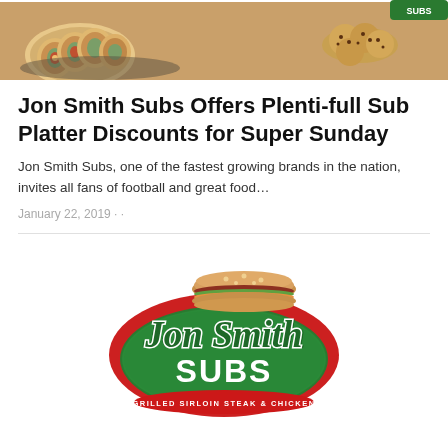[Figure (photo): Food photo showing rolled sub sandwiches on a platter with cookies in the background]
Jon Smith Subs Offers Plenti-full Sub Platter Discounts for Super Sunday
Jon Smith Subs, one of the fastest growing brands in the nation, invites all fans of football and great food…
January 22, 2019 · ·
[Figure (logo): Jon Smith Subs logo — oval green and red badge with sandwich graphic and text 'GRILLED SIRLOIN STEAK & CHICKEN']